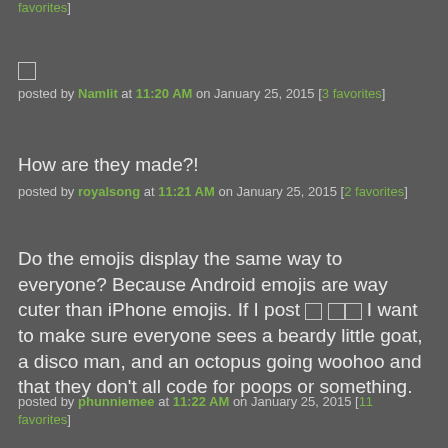favorites]
🔲
posted by Namlit at 11:20 AM on January 25, 2015 [3 favorites]
How are they made?!
posted by royalsong at 11:21 AM on January 25, 2015 [2 favorites]
Do the emojis display the same way to everyone? Because Android emojis are way cuter than iPhone emojis. If I post 🔲 🔲🔲 I want to make sure everyone sees a beardy little goat, a disco man, and an octopus going woohoo and that they don't all code for poops or something.
posted by phunniemee at 11:22 AM on January 25, 2015 [11 favorites]